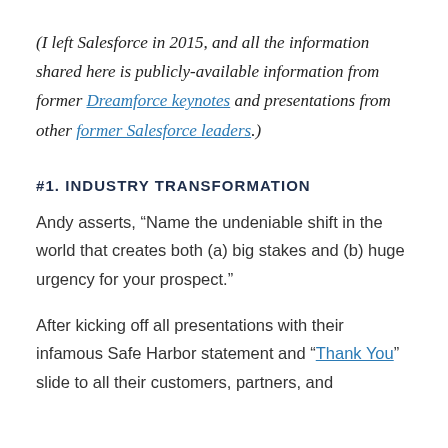(I left Salesforce in 2015, and all the information shared here is publicly-available information from former Dreamforce keynotes and presentations from other former Salesforce leaders.)
#1. INDUSTRY TRANSFORMATION
Andy asserts, “Name the undeniable shift in the world that creates both (a) big stakes and (b) huge urgency for your prospect.”
After kicking off all presentations with their infamous Safe Harbor statement and “Thank You” slide to all their customers, partners, and